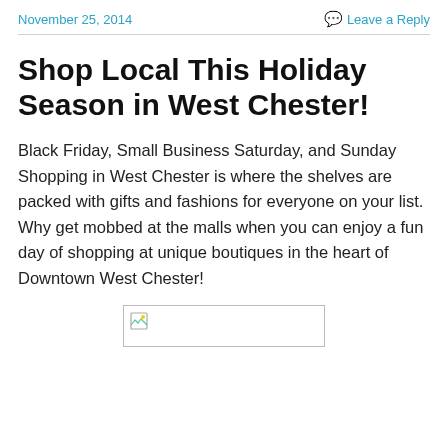November 25, 2014    Leave a Reply
Shop Local This Holiday Season in West Chester!
Black Friday, Small Business Saturday, and Sunday Shopping in West Chester is where the shelves are packed with gifts and fashions for everyone on your list. Why get mobbed at the malls when you can enjoy a fun day of shopping at unique boutiques in the heart of Downtown West Chester!
[Figure (other): Broken/placeholder image thumbnail]